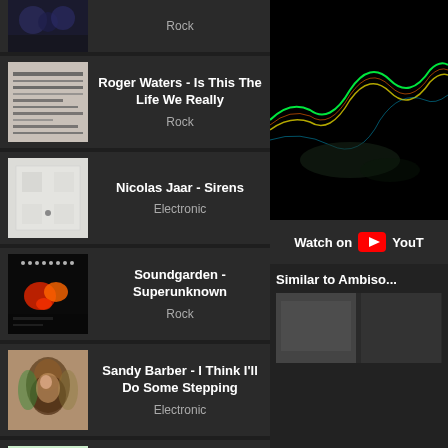[Figure (screenshot): Partial album card at top showing a dark concert photo with 'Rock' genre label]
Roger Waters - Is This The Life We Really
Rock
Nicolas Jaar - Sirens
Electronic
Soundgarden - Superunknown
Rock
Sandy Barber - I Think I'll Do Some Stepping
Electronic
Midland - Final Credits
Electronic
[Figure (screenshot): Right column video player showing a dark waveform visualization with colorful neon lines on black background]
Watch on YouTube
Similar to Ambiso...